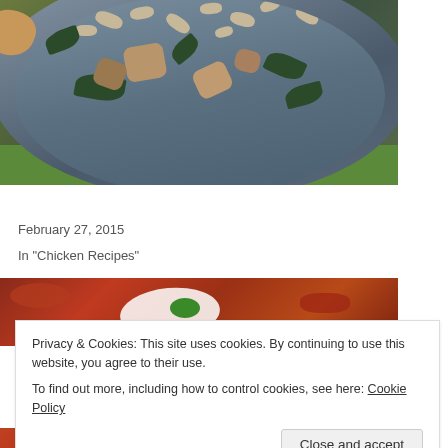[Figure (photo): Close-up photo of a white bowl of pesto chicken soup with white beans, wilted spinach/greens, and chunks of bread or chicken, on a green surface]
Delicious 5 Ingredient Pesto Chicken Soup
February 27, 2015
In "Chicken Recipes"
[Figure (photo): Photo of a chili or tomato-based dish topped with shredded white cheese and green herbs]
Privacy & Cookies: This site uses cookies. By continuing to use this website, you agree to their use.
To find out more, including how to control cookies, see here: Cookie Policy
[Figure (photo): Partial photo of a red tomato-based dish at the bottom of the page]